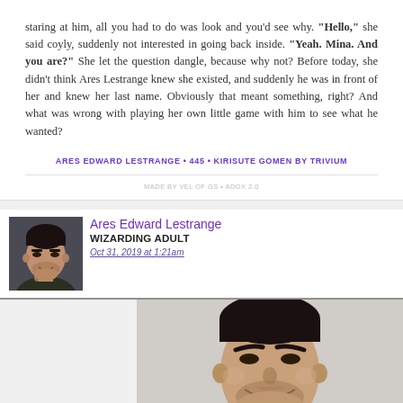staring at him, all you had to do was look and you'd see why. "Hello," she said coyly, suddenly not interested in going back inside. "Yeah. Mina. And you are?" She let the question dangle, because why not? Before today, she didn't think Ares Lestrange knew she existed, and suddenly he was in front of her and knew her last name. Obviously that meant something, right? And what was wrong with playing her own little game with him to see what he wanted?
ARES EDWARD LESTRANGE • 445 • KIRISUTE GOMEN BY TRIVIUM
MADE BY VEL OF GS • ADOX 2.0
Ares Edward Lestrange
WIZARDING ADULT
Oct 31, 2019 at 1:21am
[Figure (photo): Portrait photo of a young man with dark short hair, beard stubble, smiling/smirking, wearing a light blue shirt, photographed against a light background]